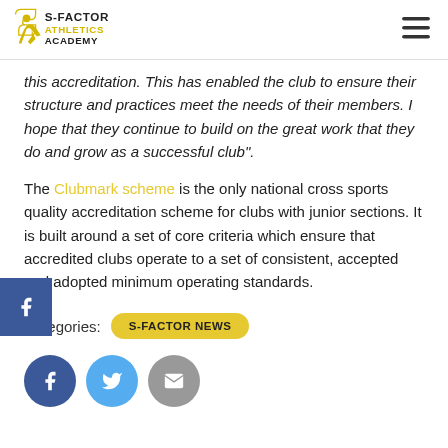S-Factor Athletics Academy
this accreditation. This has enabled the club to ensure their structure and practices meet the needs of their members. I hope that they continue to build on the great work that they do and grow as a successful club".
The Clubmark scheme is the only national cross sports quality accreditation scheme for clubs with junior sections. It is built around a set of core criteria which ensure that accredited clubs operate to a set of consistent, accepted and adopted minimum operating standards.
Categories: S-FACTOR NEWS
[Figure (other): Social share icons: Facebook (blue circle), Twitter (light blue circle), Email (grey circle)]